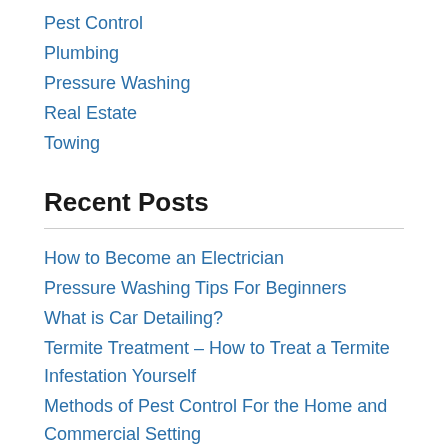Pest Control
Plumbing
Pressure Washing
Real Estate
Towing
Recent Posts
How to Become an Electrician
Pressure Washing Tips For Beginners
What is Car Detailing?
Termite Treatment – How to Treat a Termite Infestation Yourself
Methods of Pest Control For the Home and Commercial Setting
How Much Is Ceramic Coating?